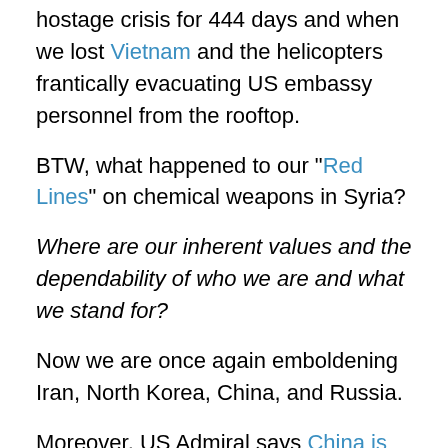hostage crisis for 444 days and when we lost Vietnam and the helicopters frantically evacuating US embassy personnel from the rooftop.
BTW, what happened to our "Red Lines" on chemical weapons in Syria?
Where are our inherent values and the dependability of who we are and what we stand for?
Now we are once again emboldening Iran, North Korea, China, and Russia.
Moreover, US Admiral says China is within 6 years of potentially taking Taiwan (guess where most of the computer chips are made and we already have a shortage)!!!
On top of this we have the Delta variant of Covid (and